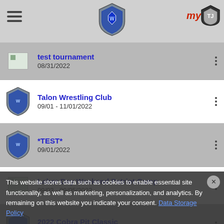Navigation header with hamburger menu, shield logo, and myTJ logo
test tournament
08/31/2022
Talon Wrestling Club
09/01 - 11/01/2022
*TEST*
09/01/2022
Labor Day Weekend Patriot Camp
09/03 - 09/05/2022
2022 Cobra Pit Classic
09/03/2022
Dirty Don`s Individual
09/03/2022
DUNBAR FALL BRAWL
09/03/2022
CVYWA`s Bakersfield Bash
This website stores data such as cookies to enable essential site functionality, as well as marketing, personalization, and analytics. By remaining on this website you indicate your consent. Data Storage Policy